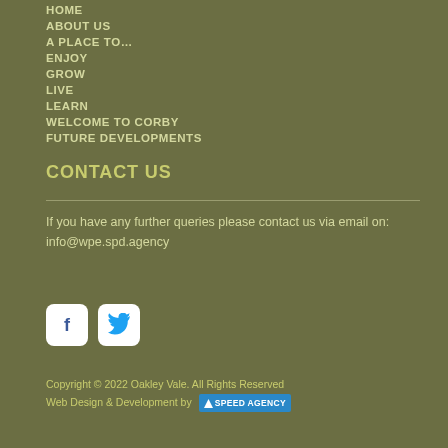HOME
ABOUT US
A PLACE TO…
ENJOY
GROW
LIVE
LEARN
WELCOME TO CORBY
FUTURE DEVELOPMENTS
CONTACT US
If you have any further queries please contact us via email on: info@wpe.spd.agency
[Figure (other): Facebook and Twitter social media icon buttons]
Copyright © 2022 Oakley Vale. All Rights Reserved
Web Design & Development by SPEED AGENCY